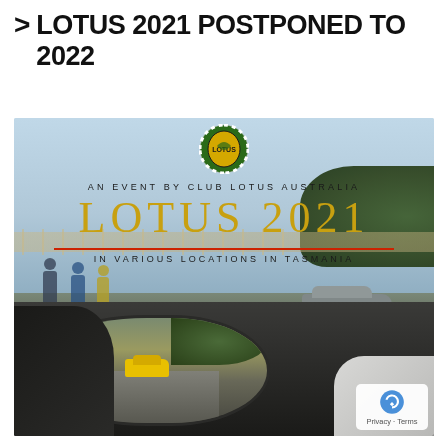> LOTUS 2021 POSTPONED TO 2022
[Figure (photo): Promotional photo for Lotus 2021 event in Tasmania by Club Lotus Australia. Shows a scenic coastal road with people standing near a fence, a grey Lotus car parked, and a view through a car side mirror showing a yellow Lotus on the road. A Club Lotus Australia logo appears at the top. Text overlay reads: AN EVENT BY CLUB LOTUS AUSTRALIA / LOTUS 2021 / IN VARIOUS LOCATIONS IN TASMANIA. Bottom right shows a reCAPTCHA privacy badge.]